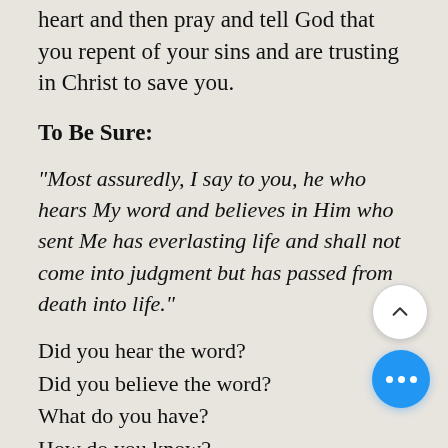heart and then pray and tell God that you repent of your sins and are trusting in Christ to save you.
To Be Sure:
"Most assuredly, I say to you, he who hears My word and believes in Him who sent Me has everlasting life and shall not come into judgment but has passed from death into life."
Did you hear the word?
Did you believe the word?
What do you have?
How do you know?